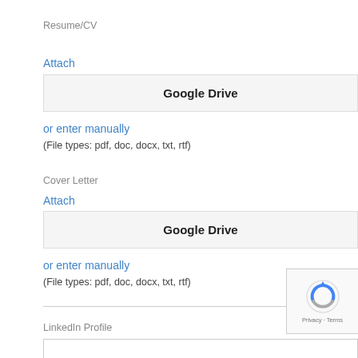Resume/CV
Attach
[Figure (screenshot): Google Drive button - a rectangular button with light gray background and bold text 'Google Drive']
or enter manually
(File types: pdf, doc, docx, txt, rtf)
Cover Letter
Attach
[Figure (screenshot): Google Drive button - a rectangular button with light gray background and bold text 'Google Drive']
or enter manually
(File types: pdf, doc, docx, txt, rtf)
LinkedIn Profile